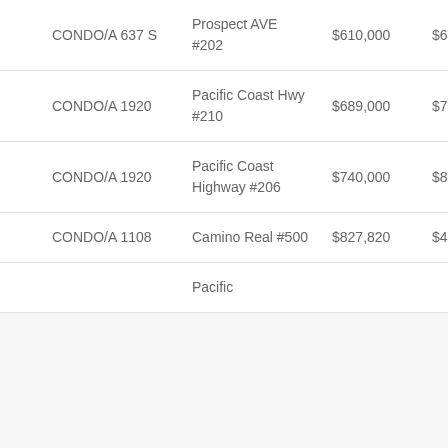| Type | Address | Price | $/sqft | Bd/Ba |  |
| --- | --- | --- | --- | --- | --- |
| CONDO/A 637 S | Prospect AVE #202 | $610,000 | $643 | 2/2,0,0,0 | 94 |
| CONDO/A 1920 | Pacific Coast Hwy #210 | $689,000 | $793 | 1/1,0,0,0 | 86 |
| CONDO/A 1920 | Pacific Coast Highway #206 | $740,000 | $852 | 1/1,0,0,0 | 86 |
| CONDO/A 1108 | Camino Real #500 | $827,820 | $422 | 3/4,0,0,0 | 19 |
| CONDO/A 1000 | Pacific |  |  |  |  |